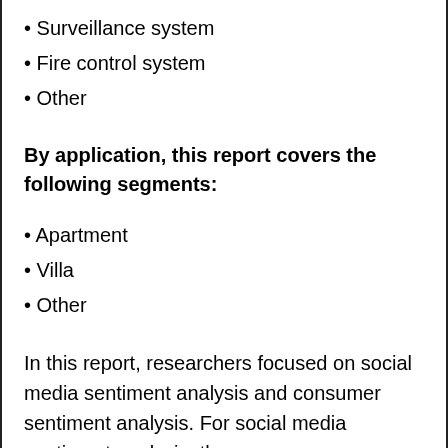Surveillance system
Fire control system
Other
By application, this report covers the following segments:
Apartment
Villa
Other
In this report, researchers focused on social media sentiment analysis and consumer sentiment analysis. For social media sentiment analysis, they